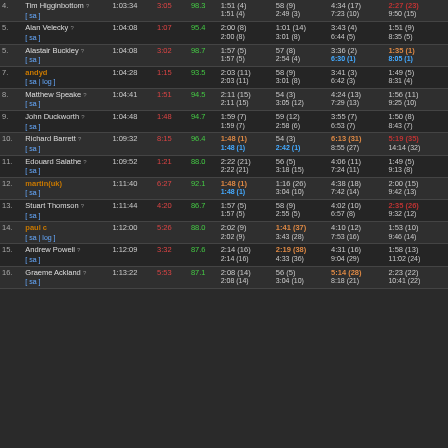| # | Name | Time | Diff | Pct | Swim | T1 | Bike | Run |
| --- | --- | --- | --- | --- | --- | --- | --- | --- |
| 4. | Tim Higginbottom ? | 1:03:34 | 3:05 | 98.3 | 1:51 (4) 1:51 (4) | 58 (9) 2:49 (3) | 4:34 (17) 7:23 (10) | 2:27 (23) 9:50 (15) |
| 5. | Alan Velecky ? | 1:04:08 | 1:07 | 95.4 | 2:00 (8) 2:00 (8) | 1:01 (14) 3:01 (8) | 3:43 (4) 6:44 (5) | 1:51 (9) 8:35 (5) |
| 5. | Alastair Buckley ? | 1:04:08 | 3:02 | 98.7 | 1:57 (5) 1:57 (5) | 57 (8) 2:54 (4) | 3:36 (2) 6:30 (1) | 1:35 (1) 8:05 (1) |
| 7. | andyd | 1:04:28 | 1:15 | 93.5 | 2:03 (11) 2:03 (11) | 58 (9) 3:01 (8) | 3:41 (3) 6:42 (3) | 1:49 (5) 8:31 (4) |
| 8. | Matthew Speake ? | 1:04:41 | 1:51 | 94.5 | 2:11 (15) 2:11 (15) | 54 (3) 3:05 (12) | 4:24 (13) 7:29 (13) | 1:56 (11) 9:25 (10) |
| 9. | John Duckworth ? | 1:04:48 | 1:48 | 94.7 | 1:59 (7) 1:59 (7) | 59 (12) 2:58 (6) | 3:55 (7) 6:53 (7) | 1:50 (8) 8:43 (7) |
| 10. | Richard Barrett ? | 1:09:32 | 8:15 | 96.4 | 1:48 (1) 1:48 (1) | 54 (3) 2:42 (1) | 6:13 (31) 8:55 (27) | 5:19 (35) 14:14 (32) |
| 11. | Edouard Salathe ? | 1:09:52 | 1:21 | 88.0 | 2:22 (21) 2:22 (21) | 56 (5) 3:18 (15) | 4:06 (11) 7:24 (11) | 1:49 (5) 9:13 (8) |
| 12. | martin(uk) | 1:11:40 | 6:27 | 92.1 | 1:48 (1) 1:48 (1) | 1:16 (26) 3:04 (10) | 4:38 (18) 7:42 (14) | 2:00 (15) 9:42 (13) |
| 13. | Stuart Thomson ? | 1:11:44 | 4:20 | 86.7 | 1:57 (5) 1:57 (5) | 58 (9) 2:55 (5) | 4:02 (10) 6:57 (8) | 2:35 (26) 9:32 (12) |
| 14. | paul c | 1:12:00 | 5:26 | 88.0 | 2:02 (9) 2:02 (9) | 1:41 (37) 3:43 (28) | 4:10 (12) 7:53 (16) | 1:53 (10) 9:46 (14) |
| 15. | Andrew Powell ? | 1:12:09 | 3:32 | 87.6 | 2:14 (16) 2:14 (16) | 2:19 (38) 4:33 (36) | 4:31 (16) 9:04 (29) | 1:58 (13) 11:02 (24) |
| 16. | Graeme Ackland ? | 1:13:22 | 5:53 | 87.1 | 2:08 (14) 2:08 (14) | 56 (5) 3:04 (10) | 5:14 (28) 8:18 (21) | 2:23 (22) 10:41 (22) |